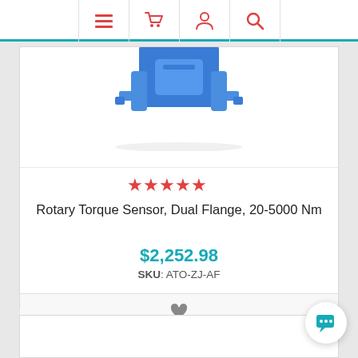Navigation bar with menu, cart, account, and search icons
[Figure (photo): Blue rotary torque sensor dual flange product photo, partially cropped at top]
[Figure (other): 5 red filled stars rating]
Rotary Torque Sensor, Dual Flange, 20-5000 Nm
$2,252.98
SKU: ATO-ZJ-AF
ADD TO CART